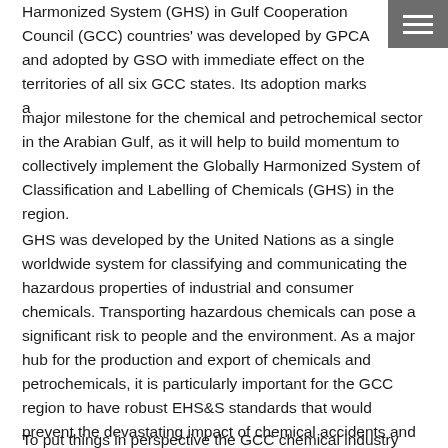Harmonized System (GHS) in Gulf Cooperation Council (GCC) countries' was developed by GPCA and adopted by GSO with immediate effect on the territories of all six GCC states. Its adoption marks a major milestone for the chemical and petrochemical sector in the Arabian Gulf, as it will help to build momentum to collectively implement the Globally Harmonized System of Classification and Labelling of Chemicals (GHS) in the region.
GHS was developed by the United Nations as a single worldwide system for classifying and communicating the hazardous properties of industrial and consumer chemicals. Transporting hazardous chemicals can pose a significant risk to people and the environment. As a major hub for the production and export of chemicals and petrochemicals, it is particularly important for the GCC region to have robust EHS&S standards that would prevent the devastating impact of chemical accidents and successfully communicate the hazards associated with chemical transportation.
To put things in perspective the GCC chemical industry